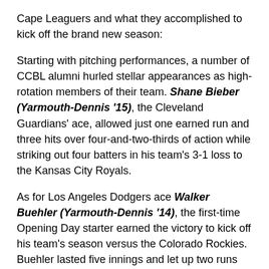Cape Leaguers and what they accomplished to kick off the brand new season:
Starting with pitching performances, a number of CCBL alumni hurled stellar appearances as high-rotation members of their team. Shane Bieber (Yarmouth-Dennis '15), the Cleveland Guardians' ace, allowed just one earned run and three hits over four-and-two-thirds of action while striking out four batters in his team's 3-1 loss to the Kansas City Royals.
As for Los Angeles Dodgers ace Walker Buehler (Yarmouth-Dennis '14), the first-time Opening Day starter earned the victory to kick off his team's season versus the Colorado Rockies. Buehler lasted five innings and let up two runs and four hits while punching out five batters on Friday, April 8. Fellow National League number one starter Corbin Burnes (Orleans '15) similarly tossed five innings for the Milwaukee Brewers against the Chicago Cubs.